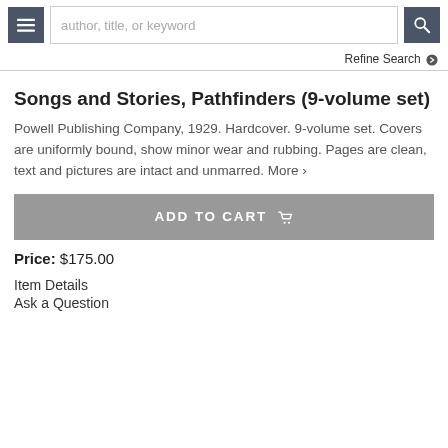author, title, or keyword
Refine Search
Songs and Stories, Pathfinders (9-volume set)
Powell Publishing Company, 1929. Hardcover. 9-volume set. Covers are uniformly bound, show minor wear and rubbing. Pages are clean, text and pictures are intact and unmarred. More >
ADD TO CART
Price: $175.00
Item Details
Ask a Question